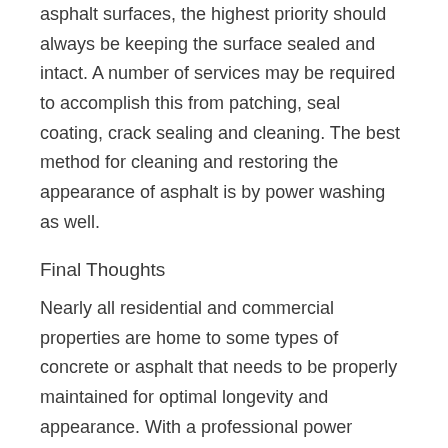asphalt surfaces, the highest priority should always be keeping the surface sealed and intact. A number of services may be required to accomplish this from patching, seal coating, crack sealing and cleaning. The best method for cleaning and restoring the appearance of asphalt is by power washing as well.
Final Thoughts
Nearly all residential and commercial properties are home to some types of concrete or asphalt that needs to be properly maintained for optimal longevity and appearance. With a professional power washing service your property can benefit from the removal of mold, mildew, dirt, graffiti, grease, and more from many exterior surfaces.
The experts at Hydra Pressure Washing LLC in